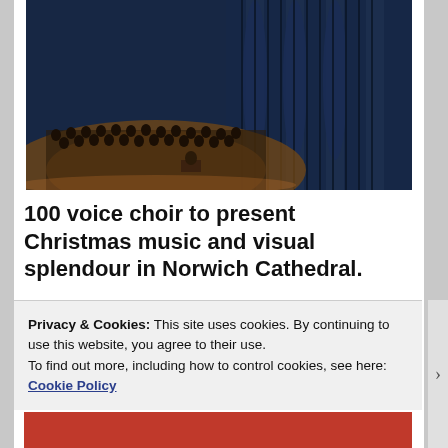[Figure (photo): Choir performing inside a large cathedral at night, warm amber lighting on choir and conductor, blue-lit stone arches and pillars in background]
100 voice choir to present Christmas music and visual splendour in Norwich Cathedral.
Norfolk's internationally renowned Voice Project Choir will
Privacy & Cookies: This site uses cookies. By continuing to use this website, you agree to their use.
To find out more, including how to control cookies, see here: Cookie Policy
Close and accept
Advertisements